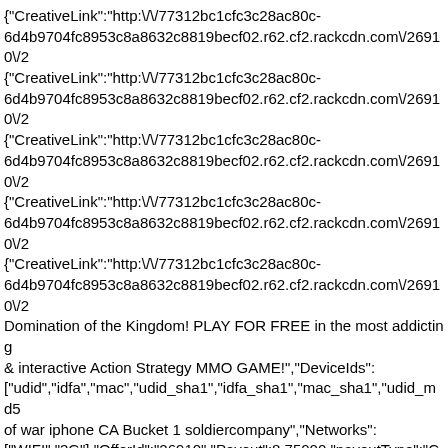{"CreativeLink":"http:\/\/77312bc1cfc3c28ac80c-6d4b9704fc8953c8a8632c8819becf02.r62.cf2.rackcdn.com\/26910\/2{"CreativeLink":"http:\/\/77312bc1cfc3c28ac80c-6d4b9704fc8953c8a8632c8819becf02.r62.cf2.rackcdn.com\/26910\/2{"CreativeLink":"http:\/\/77312bc1cfc3c28ac80c-6d4b9704fc8953c8a8632c8819becf02.r62.cf2.rackcdn.com\/26910\/2{"CreativeLink":"http:\/\/77312bc1cfc3c28ac80c-6d4b9704fc8953c8a8632c8819becf02.r62.cf2.rackcdn.com\/26910\/2{"CreativeLink":"http:\/\/77312bc1cfc3c28ac80c-6d4b9704fc8953c8a8632c8819becf02.r62.cf2.rackcdn.com\/26910\/2Domination of the Kingdom! PLAY FOR FREE in the most addicting & interactive Action Strategy MMO GAME!","DeviceIds":["udid","idfa","mac","udid_sha1","idfa_sha1","mac_sha1","udid_md5of war iphone CA Bucket 1 soldiercompany","Networks":["WIFI","3G"],"OfferId":"26910","Payout":8.75000,"payoutType":"C["IPhone"],"PreviewLink":"https:\/\/itunes.apple.com\/app\/game-of-war-fire-age\/id667728512","SupportedCountriesV2":[{"city":null,"country":"CA","region":null}],"TrackingLink":"http:\/\/tt_ls=b&offer_id=26910&aff_id=3125018&tt_appid=667728512&tt_ver=bulk&tt_ls=b&offer_id=19604&tt_appid=550854415&aff_id=69
Retrieved from "https://wiki.taptica.com/index.php?title=Bulk_API&oldid=647"